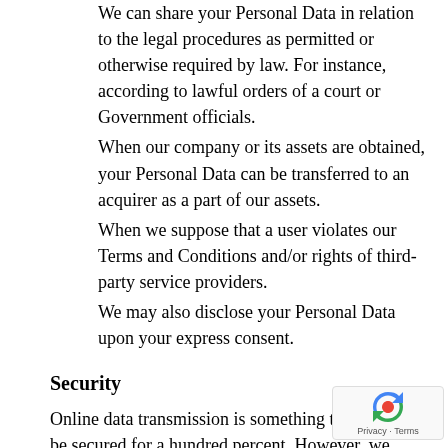We can share your Personal Data in relation to the legal procedures as permitted or otherwise required by law. For instance, according to lawful orders of a court or Government officials.
When our company or its assets are obtained, your Personal Data can be transferred to an acquirer as a part of our assets.
When we suppose that a user violates our Terms and Conditions and/or rights of third-party service providers.
We may also disclose your Personal Data upon your express consent.
Security
Online data transmission is something that cannot be secured for a hundred percent. However, we apply all possible means to secure your PII against loss, misuse, alteration, or unauthorized access. Thus, you need to consider that your access and use of our Services is at your